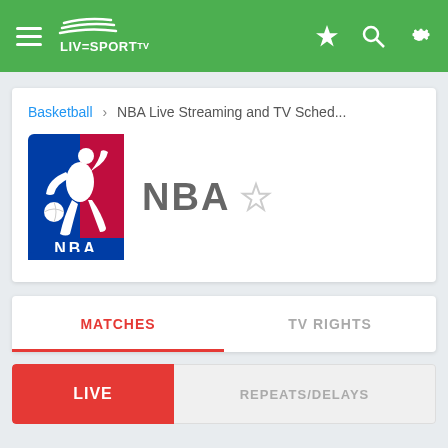LiveSportTV navigation bar with hamburger menu, logo, star, search, and settings icons
Basketball › NBA Live Streaming and TV Sched...
[Figure (logo): NBA logo — silhouette of basketball player in red, white and blue with NBA text]
NBA ☆
MATCHES    TV RIGHTS
LIVE    REPEATS/DELAYS